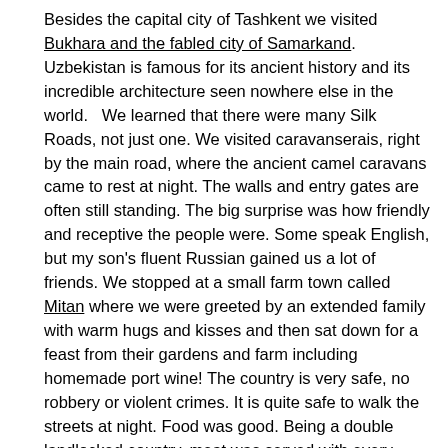Besides the capital city of Tashkent we visited Bukhara and the fabled city of Samarkand. Uzbekistan is famous for its ancient history and its incredible architecture seen nowhere else in the world.   We learned that there were many Silk Roads, not just one. We visited caravanserais, right by the main road, where the ancient camel caravans came to rest at night. The walls and entry gates are often still standing. The big surprise was how friendly and receptive the people were. Some speak English, but my son's fluent Russian gained us a lot of friends. We stopped at a small farm town called Mitan where we were greeted by an extended family with warm hugs and kisses and then sat down for a feast from their gardens and farm including homemade port wine! The country is very safe, no robbery or violent crimes. It is quite safe to walk the streets at night. Food was good. Being a double landlocked country, meat was served with every dish: lamb, beef or chicken and soups were excellent. We usually had their sweet watermelon for dessert.   Although it is an Islamic country, it is secular and the women dress in beautiful jewel colored long dresses, no two alike. The younger women often prefer western style clothing . A head scarf is more of a fashion accent than a religious statement. Uzbekistan is celebrating its 25th anniversary this year. It is still third world when it comes to banking and bathrooms outside the hotels, but they are working on it. You need to have a sense of adventure to travel to this unique and distant country, but I am glad I did.